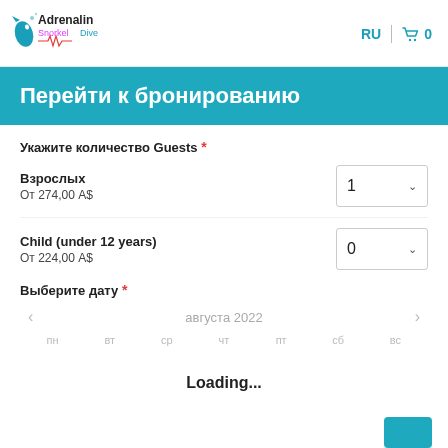RU | 🛒 0
Перейти к бронированию
Укажите количество Guests *
Взрослых
От 274,00 A$
Child (under 12 years)
От 224,00 A$
Выберите дату *
августа 2022
пн вт ср чт пт сб вс
Loading...